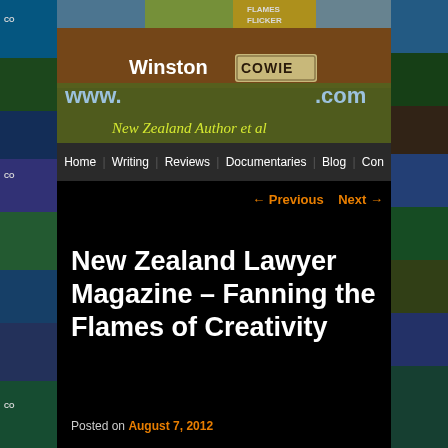[Figure (screenshot): Website header banner for winstoncowie.com showing the site name 'Winston COWIE' with a road sign style graphic, URL, and tagline 'New Zealand Author et al' on a textured brown/green background. Collage of images on left and right sides.]
Home   Writing   Reviews   Documentaries   Blog   Con
← Previous   Next →
New Zealand Lawyer Magazine – Fanning the Flames of Creativity
Posted on August 7, 2012